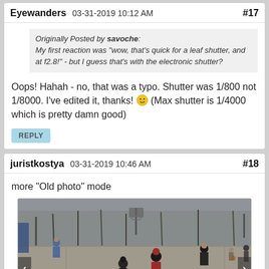Eyewanders 03-31-2019 10:12 AM #17
Originally Posted by savoche: My first reaction was "wow, that's quick for a leaf shutter, and at f2.8!" - but I guess that's with the electronic shutter?
Oops! Hahah - no, that was a typo. Shutter was 1/800 not 1/8000. I've edited it, thanks! (Max shutter is 1/4000 which is pretty damn good)
REPLY
juristkostya 03-31-2019 10:46 AM #18
more "Old photo" mode
[Figure (photo): Children playing on an outdoor basketball court with trees in the background, old photo filter applied. Navigation arrows on left and right sides.]